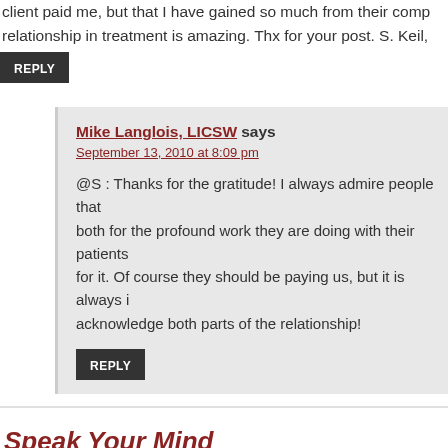client paid me, but that I have gained so much from their comp... relationship in treatment is amazing. Thx for your post. S. Keil,
REPLY
Mike Langlois, LICSW says
September 13, 2010 at 8:09 pm
@S : Thanks for the gratitude! I always admire people that... both for the profound work they are doing with their patients... for it. Of course they should be paying us, but it is always i... acknowledge both parts of the relationship!
REPLY
Speak Your Mind